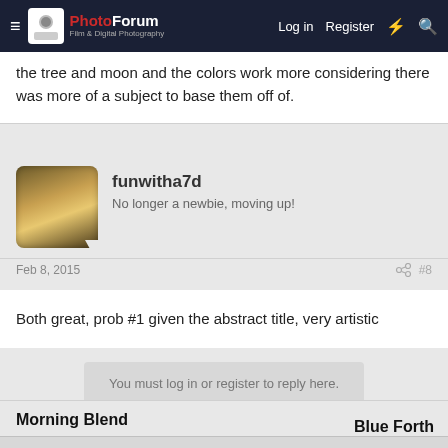The PhotoForum - Film & Digital Photography | Log in | Register
the tree and moon and the colors work more considering there was more of a subject to base them off of.
funwitha7d
No longer a newbie, moving up!
Feb 8, 2015  #8
Both great, prob #1 given the abstract title, very artistic
You must log in or register to reply here.
Morning Blend
Blue Forth